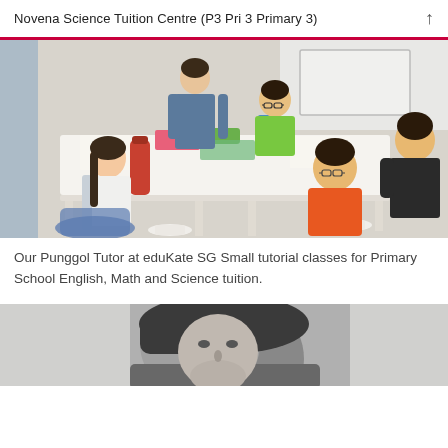Novena Science Tuition Centre (P3 Pri 3 Primary 3)
[Figure (photo): Children and a teacher sitting around a white table in a classroom, working on assignments. Students include a girl in white, a boy in green, a boy in orange, and another teenager in black. Whiteboard visible in background.]
Our Punggol Tutor at eduKate SG Small tutorial classes for Primary School English, Math and Science tuition.
[Figure (photo): Black and white close-up photo of a child or student, partially cropped at bottom of page.]